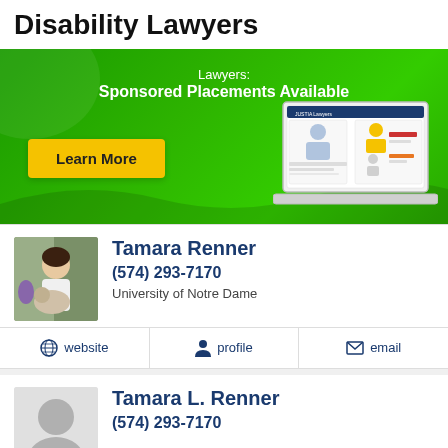Disability Lawyers
[Figure (infographic): Justia Lawyers sponsored placement advertisement banner with green background, 'Lawyers: Sponsored Placements Available' text, yellow 'Learn More' button, and laptop illustration showing Justia lawyer profiles.]
Tamara Renner
(574) 293-7170
University of Notre Dame
website
profile
email
Tamara L. Renner
(574) 293-7170